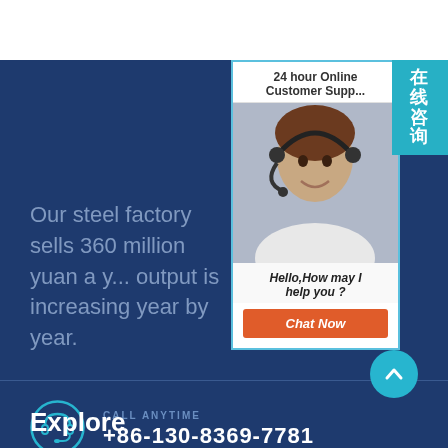[Figure (screenshot): Website screenshot with dark blue background, chat popup widget, contact info, and Explore section.]
Our steel factory sells 360 million yuan a year, output is increasing year by year.
CALL ANYTIME
+86-130-8369-7781
Explore